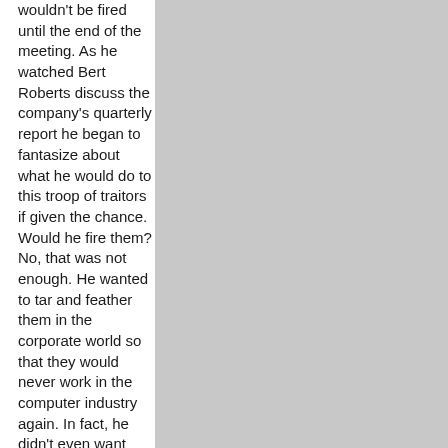wouldn't be fired until the end of the meeting. As he watched Bert Roberts discuss the company's quarterly report he began to fantasize about what he would do to this troop of traitors if given the chance. Would he fire them? No, that was not enough. He wanted to tar and feather them in the corporate world so that they would never work in the computer industry again. In fact, he didn't even want one of them to get a